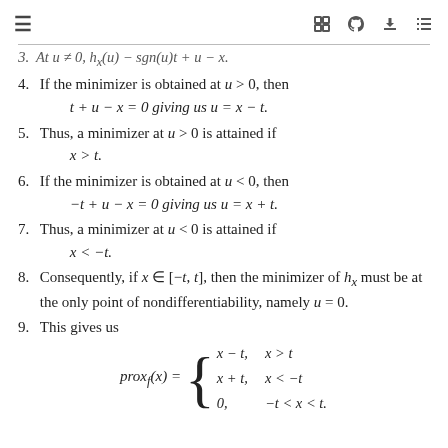≡  [icons: expand, github, download, list]
3. At u ≠ 0, h_x(u) = sgn(u)t + u − x.
4. If the minimizer is obtained at u > 0, then t + u − x = 0 giving us u = x − t.
5. Thus, a minimizer at u > 0 is attained if x > t.
6. If the minimizer is obtained at u < 0, then −t + u − x = 0 giving us u = x + t.
7. Thus, a minimizer at u < 0 is attained if x < −t.
8. Consequently, if x ∈ [−t, t], then the minimizer of h_x must be at the only point of nondifferentiability, namely u = 0.
9. This gives us